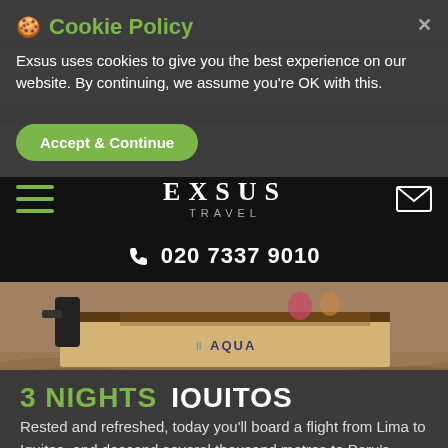🍪 Cookie Policy
Exsus uses cookies to give you the best experience on our website. By continuing, we assume you're OK with this.
Accept & Continue
[Figure (screenshot): EXSUS TRAVEL navigation bar with hamburger menu and envelope icon, and phone number 020 7337 9010]
[Figure (photo): Close-up photo of a wooden boat named AQUA moving through muddy water]
3 NIGHTS   IQUITOS
Rested and refreshed, today you'll board a flight from Lima to Iquitos, and descend several thousand metres to Peru's tropical jungle lowlands. Hop onboard the luxurious Delfin II